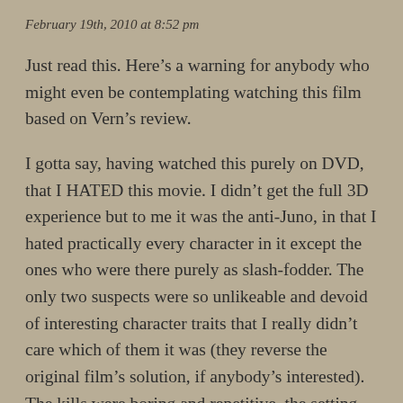February 19th, 2010 at 8:52 pm
Just read this. Here’s a warning for anybody who might even be contemplating watching this film based on Vern’s review.
I gotta say, having watched this purely on DVD, that I HATED this movie. I didn’t get the full 3D experience but to me it was the anti-Juno, in that I hated practically every character in it except the ones who were there purely as slash-fodder. The only two suspects were so unlikeable and devoid of interesting character traits that I really didn’t care which of them it was (they reverse the original film’s solution, if anybody’s interested). The kills were boring and repetitive, the setting was badly